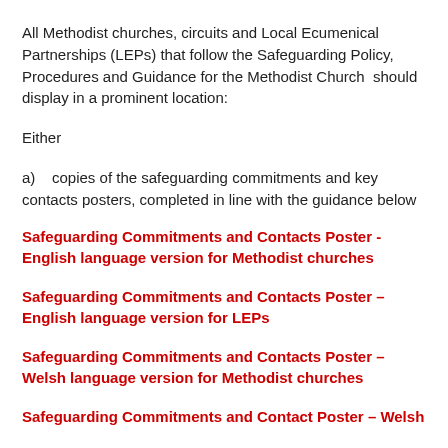All Methodist churches, circuits and Local Ecumenical Partnerships (LEPs) that follow the Safeguarding Policy, Procedures and Guidance for the Methodist Church  should display in a prominent location:
Either
a)   copies of the safeguarding commitments and key contacts posters, completed in line with the guidance below
Safeguarding Commitments and Contacts Poster - English language version for Methodist churches
Safeguarding Commitments and Contacts Poster – English language version for LEPs
Safeguarding Commitments and Contacts Poster – Welsh language version for Methodist churches
Safeguarding Commitments and Contacts Poster – Welsh